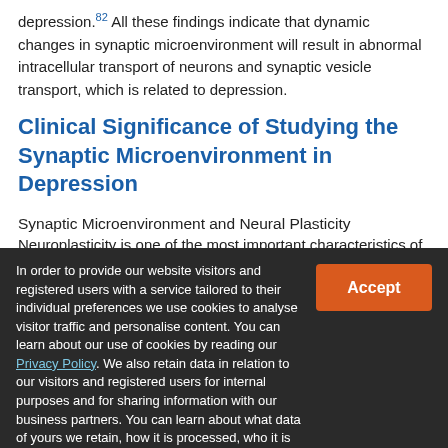depression.82 All these findings indicate that dynamic changes in synaptic microenvironment will result in abnormal intracellular transport of neurons and synaptic vesicle transport, which is related to depression.
Clinical Significance of Studying the Synaptic Microenvironment in Depression
Synaptic Microenvironment and Neural Plasticity
Neuroplasticity is one of the most important characteristics of the central nervous system (CNS) and encompasses the vast
In order to provide our website visitors and registered users with a service tailored to their individual preferences we use cookies to analyse visitor traffic and personalise content. You can learn about our use of cookies by reading our Privacy Policy. We also retain data in relation to our visitors and registered users for internal purposes and for sharing information with our business partners. You can learn about what data of yours we retain, how it is processed, who it is shared with and your right to have your data deleted by reading our Privacy Policy. If you agree to our use of cookies and the contents of our Privacy Policy please click 'accept'.